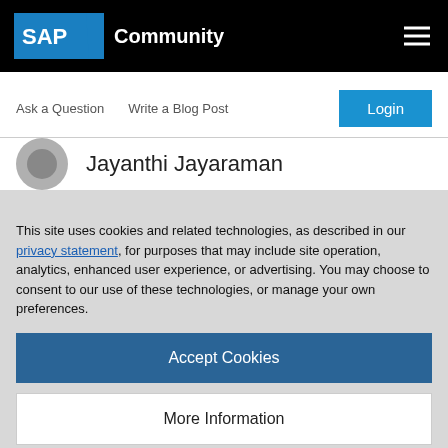SAP Community
Ask a Question   Write a Blog Post
Login
Jayanthi Jayaraman
This site uses cookies and related technologies, as described in our privacy statement, for purposes that may include site operation, analytics, enhanced user experience, or advertising. You may choose to consent to our use of these technologies, or manage your own preferences.
Accept Cookies
More Information
Privacy Policy | Powered by: TrustArc
workflow. We are going to see how to read application